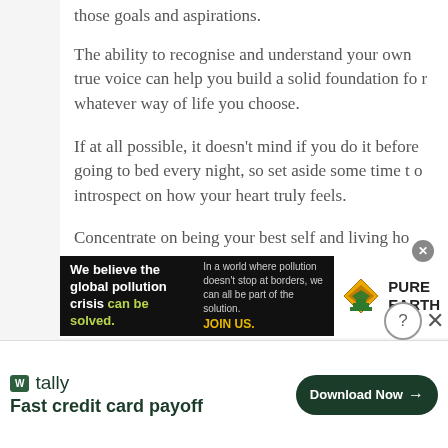those goals and aspirations.
The ability to recognise and understand your own true voice can help you build a solid foundation for whatever way of life you choose.
If at all possible, it doesn't mind if you do it before going to bed every night, so set aside some time to introspect on how your heart truly feels.
Concentrate on being your best self and living honestly by telling the truth in everything you do.
[Figure (infographic): Pure Earth advertisement: black background with text 'We believe the global pollution crisis can be solved.' (with 'can be solved.' in green) on the left, smaller text 'In a world where pollution doesn't stop at borders, we can all be part of the solution. JOIN US.' in the middle, and Pure Earth logo with diamond icon on white background on the right.]
[Figure (infographic): Tally app advertisement at bottom: Tally logo with green icon, text 'Fast credit card payoff' and a dark green 'Download Now' button with arrow. Close button (X) in grey circle at top right.]